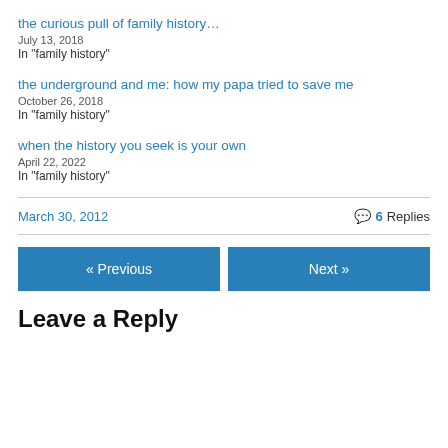the curious pull of family history…
July 13, 2018
In "family history"
the underground and me: how my papa tried to save me
October 26, 2018
In "family history"
when the history you seek is your own
April 22, 2022
In "family history"
March 30, 2012
6 Replies
« Previous
Next »
Leave a Reply